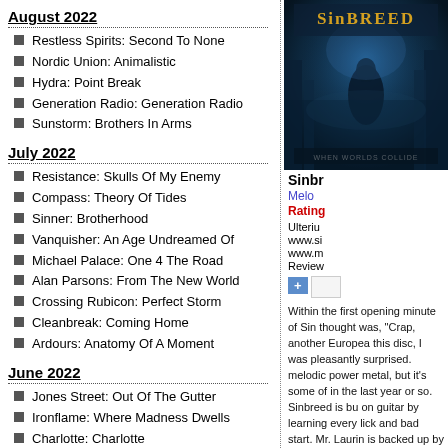August 2022
Restless Spirits: Second To None
Nordic Union: Animalistic
Hydra: Point Break
Generation Radio: Generation Radio
Sunstorm: Brothers In Arms
July 2022
Resistance: Skulls Of My Enemy
Compass: Theory Of Tides
Sinner: Brotherhood
Vanquisher: An Age Undreamed Of
Michael Palace: One 4 The Road
Alan Parsons: From The New World
Crossing Rubicon: Perfect Storm
Cleanbreak: Coming Home
Ardours: Anatomy Of A Moment
June 2022
Jones Street: Out Of The Gutter
Ironflame: Where Madness Dwells
Charlotte: Charlotte
Wayward Sons: Score Settled EP
Vypera: Eat Your Heart Out
[Figure (photo): Sinbreed - When Worlds Collide album cover]
Sinbr
Melo
Rating
Ulteriu
www.si
www.m
Review
Within the first opening minute of Sin thought was, "Crap, another Europea this disc, I was pleasantly surprised. melodic power metal, but it's some of in the last year or so. Sinbreed is bu on guitar by learning every lick and bad start. Mr. Laurin is backed up by Guardian] on drums, Hebie Langha Schulz on bass. When Worlds Collide
Imagine a 2010 version of Hellowee heaviness of Metallica and the melo and you have a strong sense of Sinb adding anything novel or clever he proper classical paces for melodic h